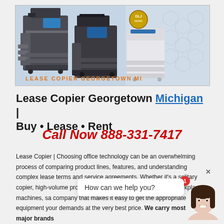[Figure (photo): Banner image showing multiple office copier/printer machines with 'LEASE COPIER GEORGETOWN MI' text overlay in orange, and a DLJ badge logo, on a blue geometric background.]
Lease Copier Georgetown Michigan | Buy • Lease • Rent
Call Now 888-331-7417
Lease Copier | Choosing office technology can be an overwhelming process of comparing product lines, features, and understanding complex lease terms and service agreements. Whether it's a solitary copier, high-volume production devices, or an entire fleet of workplace machines, sa company that makes it easy to get the appropriate equipment your demands at the very best price. We carry most major brands
[Figure (screenshot): Chat widget overlay showing 'How can we help you?' text with a female avatar and a notification badge showing '1'.]